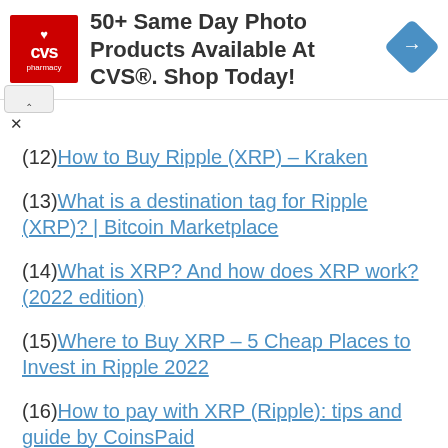[Figure (other): CVS Pharmacy advertisement banner with logo, text '50+ Same Day Photo Products Available At CVS®. Shop Today!' and a blue navigation icon]
(12) How to Buy Ripple (XRP) – Kraken
(13) What is a destination tag for Ripple (XRP)? | Bitcoin Marketplace
(14) What is XRP? And how does XRP work? (2022 edition)
(15) Where to Buy XRP – 5 Cheap Places to Invest in Ripple 2022
(16) How to pay with XRP (Ripple): tips and guide by CoinsPaid